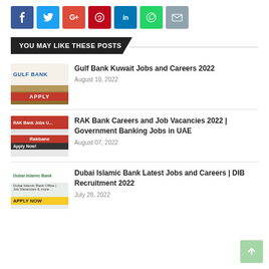[Figure (other): Social share buttons row: Facebook (blue), Twitter (light blue), Google+ (red), Pinterest (dark red), LinkedIn (blue), WhatsApp (green), Email (grey)]
YOU MAY LIKE THESE POSTS
[Figure (photo): Gulf Bank Kuwait thumbnail image with APPLY button]
Gulf Bank Kuwait Jobs and Careers 2022
August 10, 2022
[Figure (photo): RAK Bank thumbnail image with Apply Now button]
RAK Bank Careers and Job Vacancies 2022 | Government Banking Jobs in UAE
August 07, 2022
[Figure (photo): Dubai Islamic Bank thumbnail image with APPLY NOW button]
Dubai Islamic Bank Latest Jobs and Careers | DIB Recruitment 2022
July 28, 2022